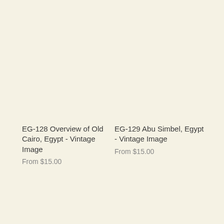EG-128 Overview of Old Cairo, Egypt - Vintage Image
From $15.00
EG-129 Abu Simbel, Egypt - Vintage Image
From $15.00